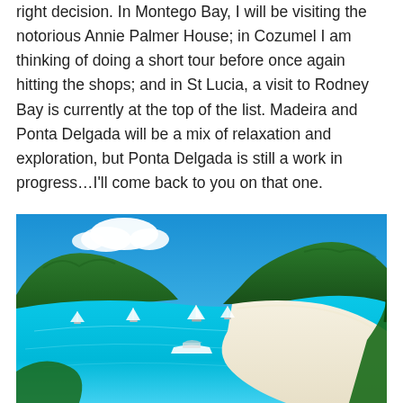right decision. In Montego Bay, I will be visiting the notorious Annie Palmer House; in Cozumel I am thinking of doing a short tour before once again hitting the shops; and in St Lucia, a visit to Rodney Bay is currently at the top of the list. Madeira and Ponta Delgada will be a mix of relaxation and exploration, but Ponta Delgada is still a work in progress…I'll come back to you on that one.
[Figure (photo): Tropical beach scene with turquoise clear water, white sandy beach, sailboats and a motorboat anchored in the bay, surrounded by green tree-covered hills under a bright blue sky with some white clouds.]